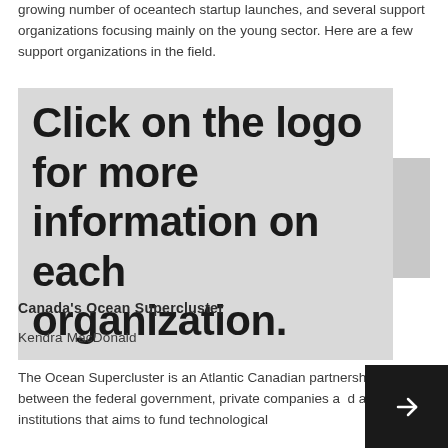growing number of oceantech startup launches, and several support organizations focusing mainly on the young sector. Here are a few support organizations in the field.
Click on the logo for more information on each organization.
Canada's Ocean Supercluster
Kendra MacDonald
The Ocean Supercluster is an Atlantic Canadian partnership between the federal government, private companies and academic institutions that aims to fund technological